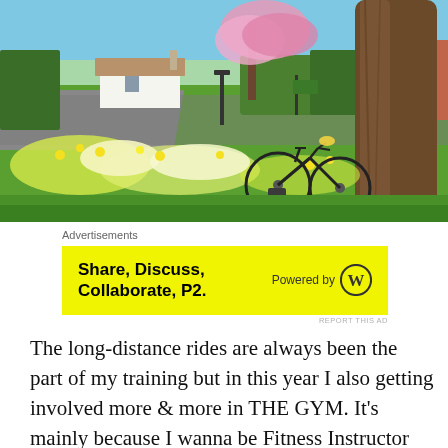[Figure (photo): A road bike leaning against a large tree trunk on a village green with daffodils and white/pink blossoms, thatched cottage and brick house in the background, spring scene.]
Advertisements
[Figure (infographic): Yellow advertisement banner: 'Share, Discuss, Collaborate, P2.' Powered by WordPress logo on the right.]
REPORT THIS AD
The long-distance rides are always been the part of my training but in this year I also getting involved more & more in THE GYM. It's mainly because I wanna be Fitness Instructor but also because I want some improvement on